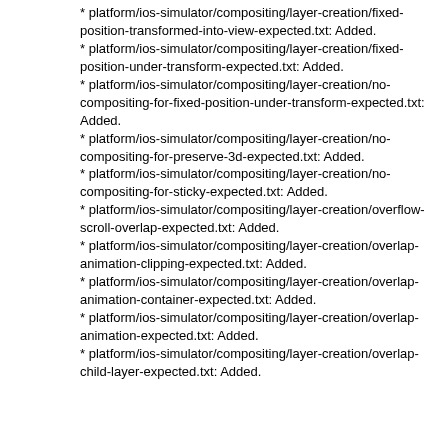* platform/ios-simulator/compositing/layer-creation/fixed-position-transformed-into-view-expected.txt: Added.
* platform/ios-simulator/compositing/layer-creation/fixed-position-under-transform-expected.txt: Added.
* platform/ios-simulator/compositing/layer-creation/no-compositing-for-fixed-position-under-transform-expected.txt: Added.
* platform/ios-simulator/compositing/layer-creation/no-compositing-for-preserve-3d-expected.txt: Added.
* platform/ios-simulator/compositing/layer-creation/no-compositing-for-sticky-expected.txt: Added.
* platform/ios-simulator/compositing/layer-creation/overflow-scroll-overlap-expected.txt: Added.
* platform/ios-simulator/compositing/layer-creation/overlap-animation-clipping-expected.txt: Added.
* platform/ios-simulator/compositing/layer-creation/overlap-animation-container-expected.txt: Added.
* platform/ios-simulator/compositing/layer-creation/overlap-animation-expected.txt: Added.
* platform/ios-simulator/compositing/layer-creation/overlap-child-layer-expected.txt: Added.